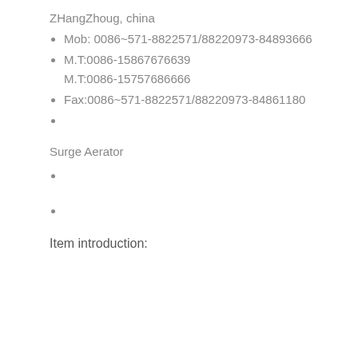ZHangZhoug, china
Mob: 0086~571-8822571/88220973-84893666
M.T:0086-15867676639
M.T:0086-15757686666
Fax:0086~571-8822571/88220973-84861180
Surge Aerator
Item introduction: